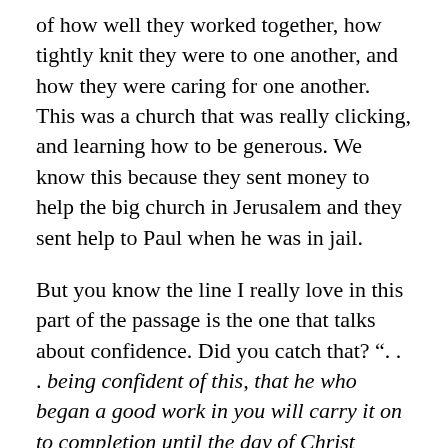of how well they worked together, how tightly knit they were to one another, and how they were caring for one another. This was a church that was really clicking, and learning how to be generous. We know this because they sent money to help the big church in Jerusalem and they sent help to Paul when he was in jail.
But you know the line I really love in this part of the passage is the one that talks about confidence. Did you catch that? ". . . being confident of this, that he who began a good work in you will carry it on to completion until the day of Christ Jesus."
Now this church in Philippi wasn't perfect — no church is! God chooses human beings to be the church, right? And we humans have this tendency to mess things up from time to time, don't we? And these folks were no exception to that rule.